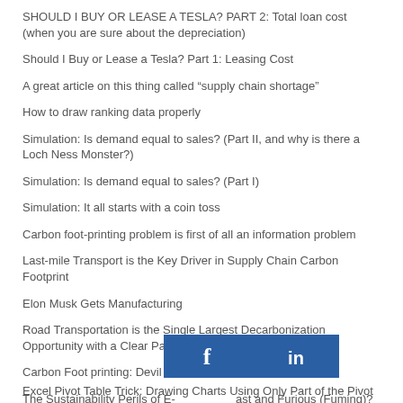SHOULD I BUY OR LEASE A TESLA? PART 2: Total loan cost (when you are sure about the depreciation)
Should I Buy or Lease a Tesla? Part 1: Leasing Cost
A great article on this thing called “supply chain shortage”
How to draw ranking data properly
Simulation: Is demand equal to sales? (Part II, and why is there a Loch Ness Monster?)
Simulation: Is demand equal to sales? (Part I)
Simulation: It all starts with a coin toss
Carbon foot-printing problem is first of all an information problem
Last-mile Transport is the Key Driver in Supply Chain Carbon Footprint
Elon Musk Gets Manufacturing
Road Transportation is the Single Largest Decarbonization Opportunity with a Clear Path Forward
Carbon Foot printing: Devil is in its details. . .
The Sustainability Perils of E-[social bar overlay]ast and Furious (Fuming)?
[Figure (other): Social media sharing buttons bar showing Facebook and LinkedIn icons in blue]
Excel Pivot Table Trick: Drawing Charts Using Only Part of the Pivot Table